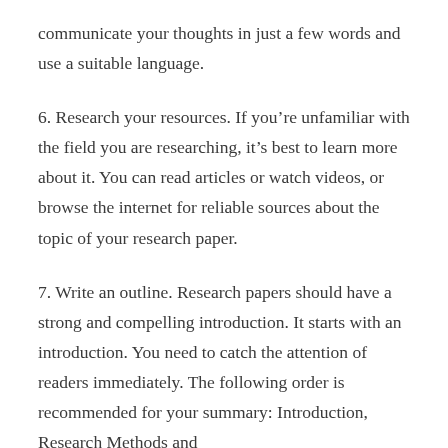communicate your thoughts in just a few words and use a suitable language.
6. Research your resources. If you’re unfamiliar with the field you are researching, it’s best to learn more about it. You can read articles or watch videos, or browse the internet for reliable sources about the topic of your research paper.
7. Write an outline. Research papers should have a strong and compelling introduction. It starts with an introduction. You need to catch the attention of readers immediately. The following order is recommended for your summary: Introduction, Research Methods and